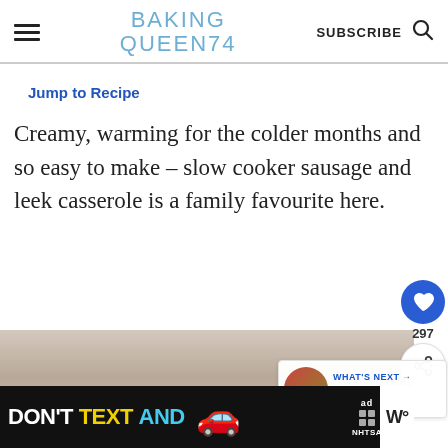BAKING QUEEN74 — SUBSCRIBE
Jump to Recipe
Creamy, warming for the colder months and so easy to make – slow cooker sausage and leek casserole is a family favourite here.
[Figure (photo): Close-up photograph of a slow cooker or casserole dish, showing a beige/tan ceramic surface]
[Figure (screenshot): What's Next overlay: thumbnail of Slow Cooker Sausage... with orange food photo]
[Figure (photo): Advertisement banner: DON'T TEXT AND [car emoji] with NHTSA branding on black background]